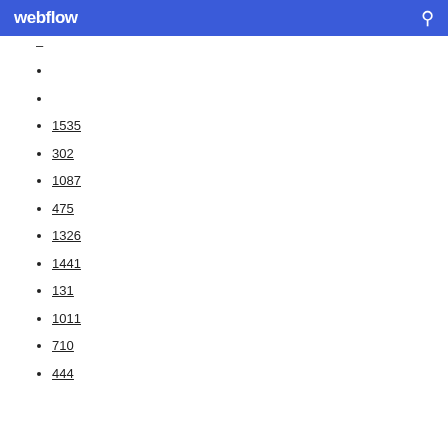webflow
1535
302
1087
475
1326
1441
131
1011
710
444